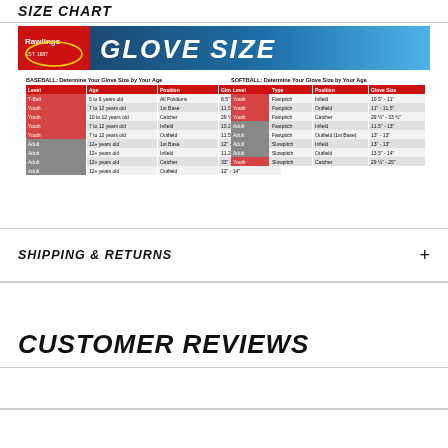SIZE CHART
[Figure (infographic): Rawlings Glove Size chart image showing two tables: BASEBALL: Determine Your Glove Size by Your Age (Level, Age, Position, Glove Size) and SOFTBALL: Determine Your Glove Size by Your Age (Level, Type, Position, Glove Size)]
SHIPPING & RETURNS
CUSTOMER REVIEWS